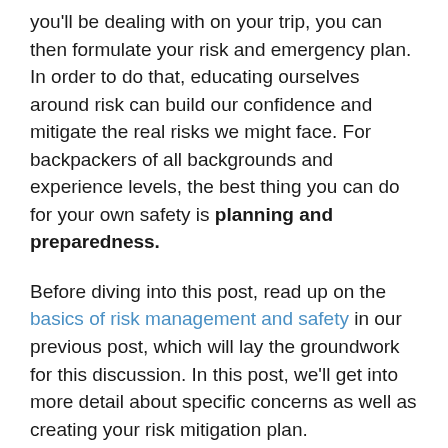you'll be dealing with on your trip, you can then formulate your risk and emergency plan. In order to do that, educating ourselves around risk can build our confidence and mitigate the real risks we might face. For backpackers of all backgrounds and experience levels, the best thing you can do for your own safety is planning and preparedness.
Before diving into this post, read up on the basics of risk management and safety in our previous post, which will lay the groundwork for this discussion. In this post, we'll get into more detail about specific concerns as well as creating your risk mitigation plan.
Assessing Risk: How